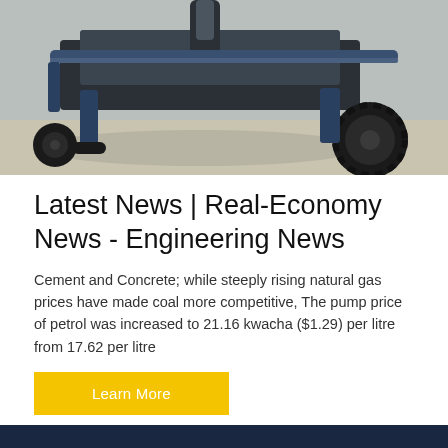[Figure (photo): Photograph of heavy industrial/construction machinery undercarriage, showing wheels, frame, and mechanical components against a dirt/outdoor background]
Latest News | Real-Economy News - Engineering News
Cement and Concrete; while steeply rising natural gas prices have made coal more competitive, The pump price of petrol was increased to 21.16 kwacha ($1.29) per litre from 17.62 per litre
Learn More
ABOUT US